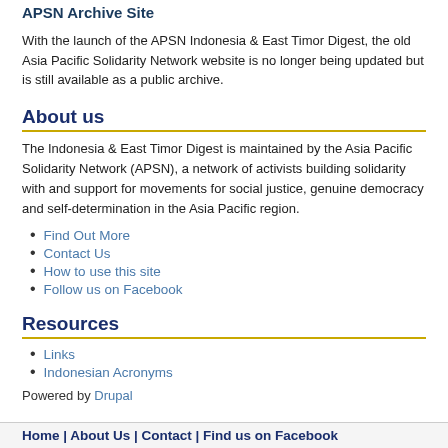APSN Archive Site
With the launch of the APSN Indonesia & East Timor Digest, the old Asia Pacific Solidarity Network website is no longer being updated but is still available as a public archive.
About us
The Indonesia & East Timor Digest is maintained by the Asia Pacific Solidarity Network (APSN), a network of activists building solidarity with and support for movements for social justice, genuine democracy and self-determination in the Asia Pacific region.
Find Out More
Contact Us
How to use this site
Follow us on Facebook
Resources
Links
Indonesian Acronyms
Powered by Drupal
Home | About Us | Contact | Find us on Facebook